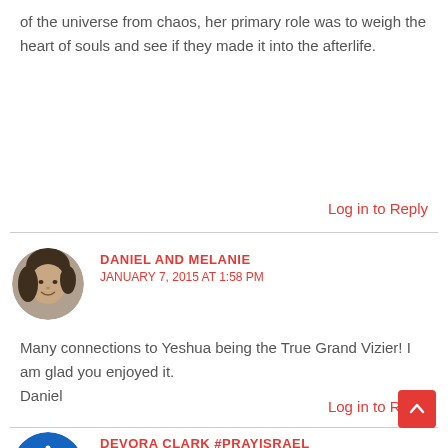of the universe from chaos, her primary role was to weigh the heart of souls and see if they made it into the afterlife.
Log in to Reply
DANIEL AND MELANIE
JANUARY 7, 2015 AT 1:58 PM
Many connections to Yeshua being the True Grand Vizier! I am glad you enjoyed it.
Daniel
Log in to Reply
DEVORA CLARK #PRAYISRAEL
DECEMBER 27, 2014 AT 7:48 PM